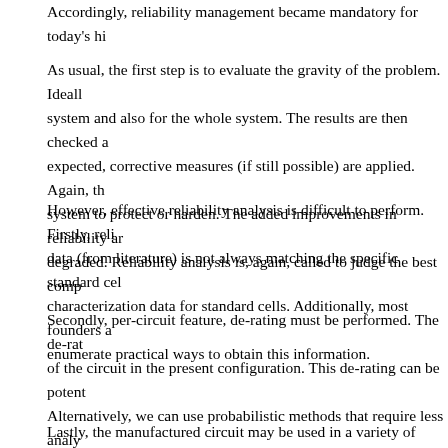Accordingly, reliability management became mandatory for today's hi...
As usual, the first step is to evaluate the gravity of the problem. Ideall... system and also for the whole system. The results are then checked a... expected, corrective measures (if still possible) are applied. Again, th... system to protect or harden. The added improvements in reliability ar... degraded. Reliability analysis is, again, called to judge the best comp...
However, effective reliability analysis is difficult to perform. Firstly, reli... data (from literature) is not always matching the specific standard cel... characterization data for standard cells. Additionally, most founders a... enumerate practical ways to obtain this information.
Secondly, per-circuit feature, de-rating must be performed. The de-rat... of the circuit in the present configuration. This de-rating can be potent... Alternatively, we can use probabilistic methods that require less analy... the analysis becomes a required aspect of system reliability, enabling... will present some of the methodologies and tools that circuit designe...
Lastly, the manufactured circuit may be used in a variety of scenarios... CPUs. Reliability performance is expected to vary accordingly. The i...